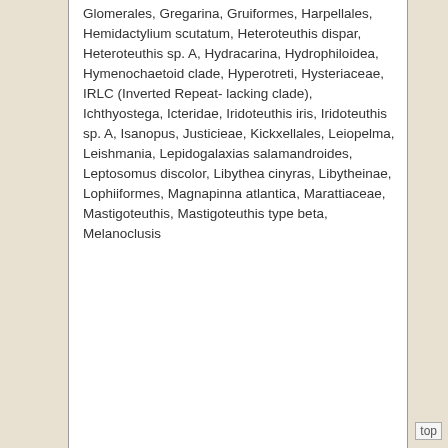Glomerales, Gregarina, Gruiformes, Harpellales, Hemidactylium scutatum, Heteroteuthis dispar, Heteroteuthis sp. A, Hydracarina, Hydrophiloidea, Hymenochaetoid clade, Hyperotreti, Hysteriaceae, IRLC (Inverted Repeat-lacking clade), Ichthyostega, Icteridae, Iridoteuthis iris, Iridoteuthis sp. A, Isanopus, Justicieae, Kickxellales, Leiopelma, Leishmania, Lepidogalaxias salamandroides, Leptosomus discolor, Libythea cinyras, Libytheinae, Lophiiformes, Magnapinna atlantica, Marattiaceae, Mastigoteuthis, Mastigoteuthis type beta, Melanoclusis
top